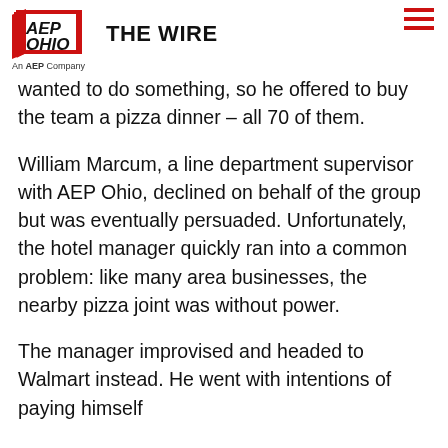AEP OHIO THE WIRE
wanted to do something, so he offered to buy the team a pizza dinner – all 70 of them.
William Marcum, a line department supervisor with AEP Ohio, declined on behalf of the group but was eventually persuaded. Unfortunately, the hotel manager quickly ran into a common problem: like many area businesses, the nearby pizza joint was without power.
The manager improvised and headed to Walmart instead. He went with intentions of paying himself